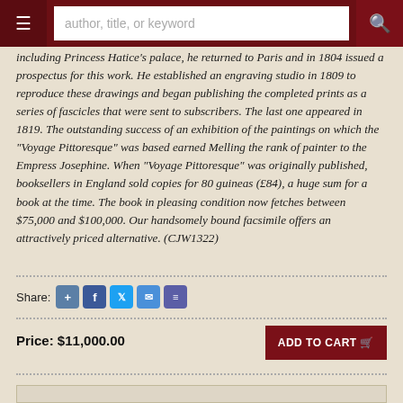author, title, or keyword
including Princess Hatice's palace, he returned to Paris and in 1804 issued a prospectus for this work. He established an engraving studio in 1809 to reproduce these drawings and began publishing the completed prints as a series of fascicles that were sent to subscribers. The last one appeared in 1819. The outstanding success of an exhibition of the paintings on which the "Voyage Pittoresque" was based earned Melling the rank of painter to the Empress Josephine. When "Voyage Pittoresque" was originally published, booksellers in England sold copies for 80 guineas (£84), a huge sum for a book at the time. The book in pleasing condition now fetches between $75,000 and $100,000. Our handsomely bound facsimile offers an attractively priced alternative. (CJW1322)
Share:
Price: $11,000.00
ADD TO CART
PJP Catalog: 75.216